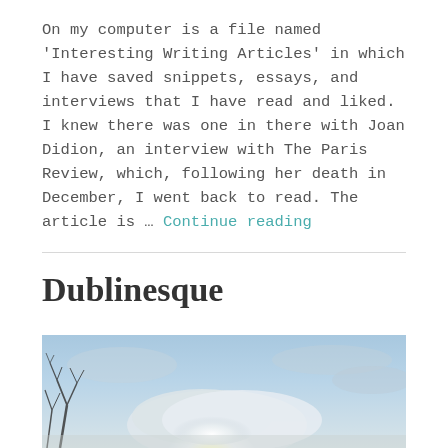On my computer is a file named 'Interesting Writing Articles' in which I have saved snippets, essays, and interviews that I have read and liked. I knew there was one in there with Joan Didion, an interview with The Paris Review, which, following her death in December, I went back to read. The article is … Continue reading
Dublinesque
[Figure (photo): A sky photo with blue sky, clouds with bright sun glow, and bare tree branches silhouetted in the lower left]